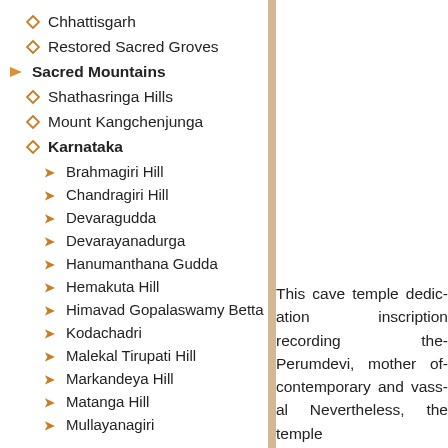Chhattisgarh
Restored Sacred Groves
Sacred Mountains
Shathasringa Hills
Mount Kangchenjunga
Karnataka
Brahmagiri Hill
Chandragiri Hill
Devaragudda
Devarayanadurga
Hanumanthana Gudda
Hemakuta Hill
Himavad Gopalaswamy Betta
Kodachadri
Malekal Tirupati Hill
Markandeya Hill
Matanga Hill
Mullayanagiri
This cave temple dedic... inscription recording the... Perumdevi, mother of... contemporary and vass... Nevertheless, the temple...
The temple consists of a... there is beautiful and v...